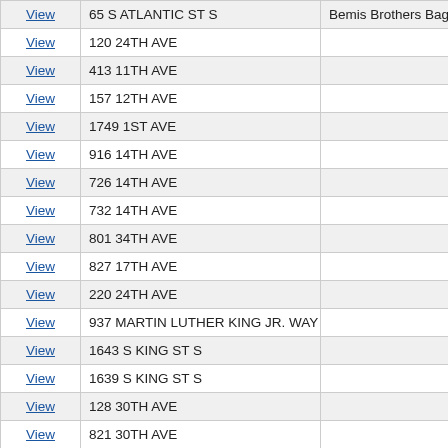|  | Address | Name |
| --- | --- | --- |
| View | 65 S ATLANTIC ST S | Bemis Brothers Bag Co |
| View | 120 24TH AVE |  |
| View | 413 11TH AVE |  |
| View | 157 12TH AVE |  |
| View | 1749 1ST AVE |  |
| View | 916 14TH AVE |  |
| View | 726 14TH AVE |  |
| View | 732 14TH AVE |  |
| View | 801 34TH AVE |  |
| View | 827 17TH AVE |  |
| View | 220 24TH AVE |  |
| View | 937 MARTIN LUTHER KING JR. WAY |  |
| View | 1643 S KING ST S |  |
| View | 1639 S KING ST S |  |
| View | 128 30TH AVE |  |
| View | 821 30TH AVE |  |